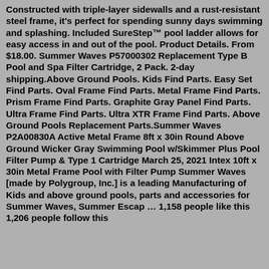Constructed with triple-layer sidewalls and a rust-resistant steel frame, it's perfect for spending sunny days swimming and splashing. Included SureStep™ pool ladder allows for easy access in and out of the pool. Product Details. From $18.00. Summer Waves P57000302 Replacement Type B Pool and Spa Filter Cartridge, 2 Pack. 2-day shipping.Above Ground Pools. Kids Find Parts. Easy Set Find Parts. Oval Frame Find Parts. Metal Frame Find Parts. Prism Frame Find Parts. Graphite Gray Panel Find Parts. Ultra Frame Find Parts. Ultra XTR Frame Find Parts. Above Ground Pools Replacement Parts.Summer Waves P2A00830A Active Metal Frame 8ft x 30in Round Above Ground Wicker Gray Swimming Pool w/Skimmer Plus Pool Filter Pump & Type 1 Cartridge March 25, 2021 Intex 10ft x 30in Metal Frame Pool with Filter Pump Summer Waves [made by Polygroup, Inc.] is a leading Manufacturing of Kids and above ground pools, parts and accessories for Summer Waves, Summer Escap … 1,158 people like this 1,206 people follow this